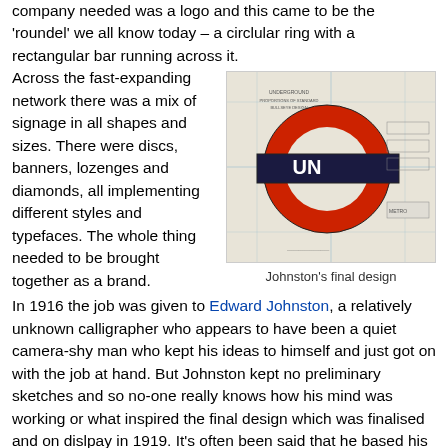company needed was a logo and this came to be the 'roundel' we all know today – a circlular ring with a rectangular bar running across it.
Across the fast-expanding network there was a mix of signage in all shapes and sizes. There were discs, banners, lozenges and diamonds, all implementing different styles and typefaces. The whole thing needed to be brought together as a brand.
[Figure (photo): A blueprint/technical drawing of the London Underground roundel standard design, showing the red circular ring with a dark rectangular bar across the center, labeled 'UN'. Technical lines and annotations are visible in the background.]
Johnston's final design
In 1916 the job was given to Edward Johnston, a relatively unknown calligrapher who appears to have been a quiet camera-shy man who kept his ideas to himself and just got on with the job at hand. But Johnston kept no preliminary sketches and so no-one really knows how his mind was working or what inspired the final design which was finalised and on dislpay in 1919. It's often been said that he based his final design on the 1908 "roundels" can still be found on station platforms such as Covent Garden and Caledonian Rd.